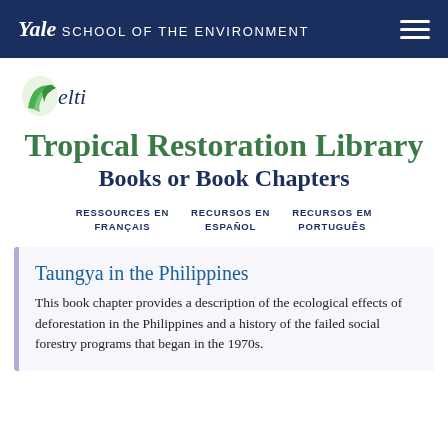Yale School of the Environment
[Figure (logo): ELTI logo with green leaf/bird icon and text 'elti']
Tropical Restoration Library
Books or Book Chapters
RESSOURCES EN FRANÇAIS   RECURSOS EN ESPAÑOL   RECURSOS EM PORTUGUÊS
Taungya in the Philippines
This book chapter provides a description of the ecological effects of deforestation in the Philippines and a history of the failed social forestry programs that began in the 1970s.